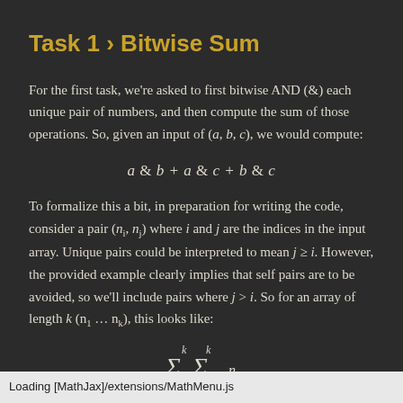Task 1 › Bitwise Sum
For the first task, we're asked to first bitwise AND (&) each unique pair of numbers, and then compute the sum of those operations. So, given an input of (a, b, c), we would compute:
To formalize this a bit, in preparation for writing the code, consider a pair (n_i, n_j) where i and j are the indices in the input array. Unique pairs could be interpreted to mean j ≥ i. However, the provided example clearly implies that self pairs are to be avoided, so we'll include pairs where j > i. So for an array of length k (n_1 … n_k), this looks like:
Loading [MathJax]/extensions/MathMenu.js